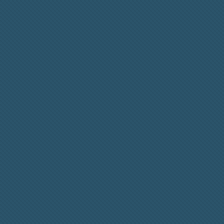[Figure (photo): Dark teal/navy blue textured fabric background filling the left portion of the page]
Price Realised:
[Figure (photo): A silk tie by Ferragamo with green patterned print and red Ferragamo branded sleeve/wrapper, photographed diagonally]
Lot #25
A Silk Tie by Ferra...
Price Realised: *****
[Figure (photo): Close-up of tortoiseshell brown sunglasses frame, partially visible at bottom of page]